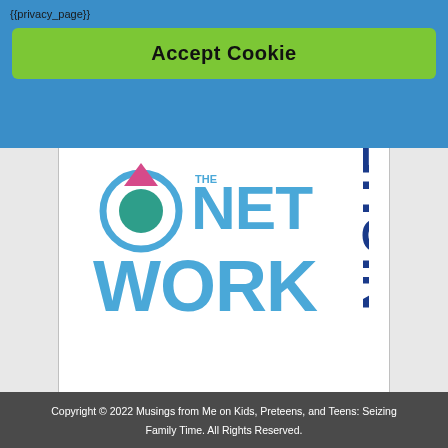{{privacy_page}}
Accept Cookie
[Figure (logo): The Network Niche membership badge logo. Shows 'I'm a member' in green italic bold text at top. Below is a circular icon with teal and pink triangle, followed by large light-blue text 'NET WORK' and dark-blue vertical text 'NICHE'. URL www.thenetworkniche.com in pink at bottom.]
Copyright © 2022 Musings from Me on Kids, Preteens, and Teens: Seizing Family Time. All Rights Reserved.